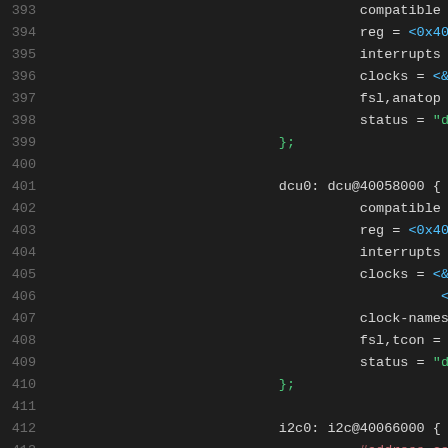[Figure (screenshot): Source code listing showing device tree entries for dcu0 and i2c0 peripherals, with line numbers 393-414 visible. Dark theme code editor with green strings, cyan hex values, and red property names.]